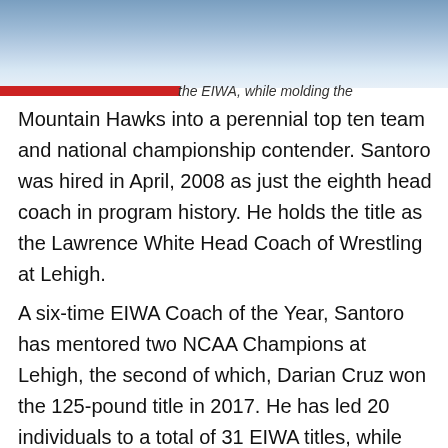[Figure (photo): Photo of a wrestling court/gymnasium, partially visible at the top of the page]
the EIWA, while molding the Mountain Hawks into a perennial top ten team and national championship contender. Santoro was hired in April, 2008 as just the eighth head coach in program history. He holds the title as the Lawrence White Head Coach of Wrestling at Lehigh.
A six-time EIWA Coach of the Year, Santoro has mentored two NCAA Champions at Lehigh, the second of which, Darian Cruz won the 125-pound title in 2017. He has led 20 individuals to a total of 31 EIWA titles, while guiding 17 men to 31 total All-American honors. Santoro finished the 2020-